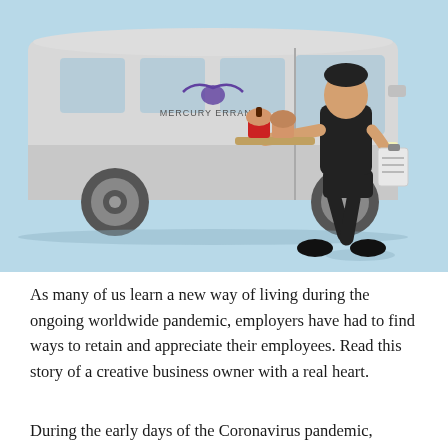[Figure (illustration): Illustration showing a white Mercury Errands branded delivery van on a light blue background, with a person dressed in black carrying a tray with two cupcakes and a clipboard, walking in front of the van.]
As many of us learn a new way of living during the ongoing worldwide pandemic, employers have had to find ways to retain and appreciate their employees. Read this story of a creative business owner with a real heart.
During the early days of the Coronavirus pandemic,